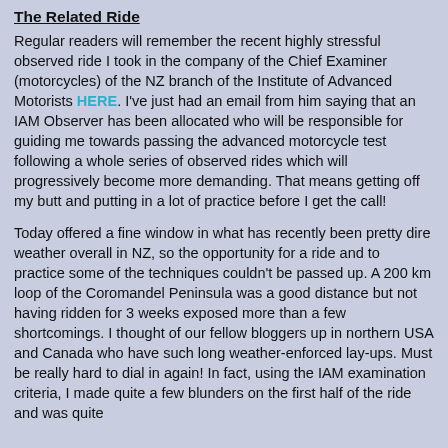The Related Ride
Regular readers will remember the recent highly stressful observed ride I took in the company of the Chief Examiner (motorcycles) of the NZ branch of the Institute of Advanced Motorists HERE. I've just had an email from him saying that an IAM Observer has been allocated who will be responsible for guiding me towards passing the advanced motorcycle test following a whole series of observed rides which will progressively become more demanding.  That means getting off my butt and putting in a lot of practice before I get the call!
Today offered a fine window in what has recently been pretty dire weather overall in NZ, so the opportunity for a ride and to practice some of the techniques couldn't be passed up.  A 200 km loop of the Coromandel Peninsula was a good distance but not having ridden for 3 weeks exposed more than a few shortcomings.  I thought of our fellow bloggers up in northern USA and Canada who have such long weather-enforced lay-ups.  Must be really hard to dial in again!  In fact, using the IAM examination criteria, I made quite a few blunders on the first half of the ride and was quite